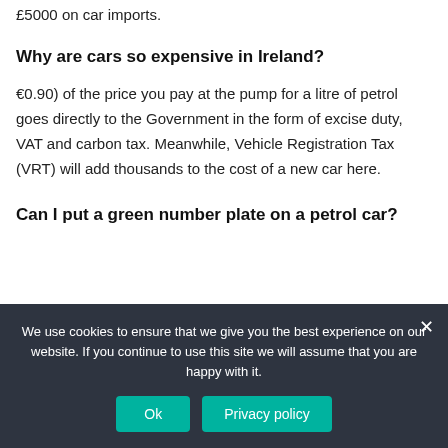£5000 on car imports.
Why are cars so expensive in Ireland?
€0.90) of the price you pay at the pump for a litre of petrol goes directly to the Government in the form of excise duty, VAT and carbon tax. Meanwhile, Vehicle Registration Tax (VRT) will add thousands to the cost of a new car here.
Can I put a green number plate on a petrol car?
We use cookies to ensure that we give you the best experience on our website. If you continue to use this site we will assume that you are happy with it.